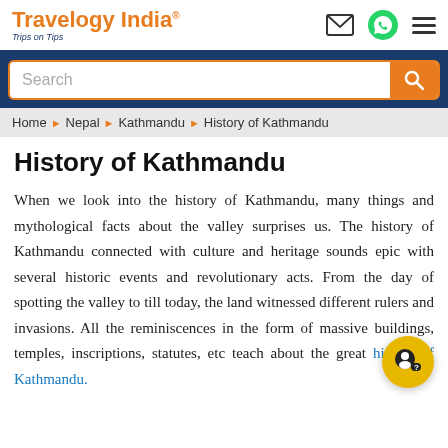Travelogy India® | Trips on Tips
Search
Home ▶ Nepal ▶ Kathmandu ▶ History of Kathmandu
History of Kathmandu
When we look into the history of Kathmandu, many things and mythological facts about the valley surprises us. The history of Kathmandu connected with culture and heritage sounds epic with several historic events and revolutionary acts. From the day of spotting the valley to till today, the land witnessed different rulers and invasions. All the reminiscences in the form of massive buildings, temples, inscriptions, statutes, etc teach about the great history of Kathmandu.